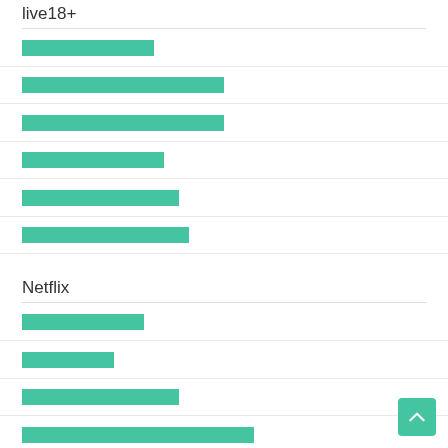live18+
[redacted link 1]
[redacted link 2]
[redacted link 3]
[redacted link 4]
[redacted link 5]
[redacted link 6]
Netflix
[redacted link 7]
[redacted link 8]
[redacted link 9]
[redacted link 10]